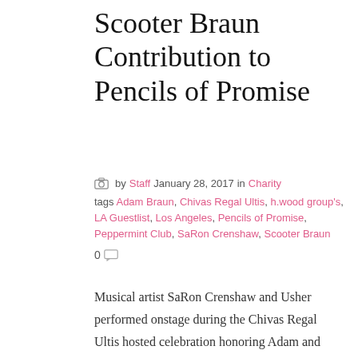Scooter Braun Contribution to Pencils of Promise
by Staff  January 28, 2017  in Charity
tags Adam Braun, Chivas Regal Ultis, h.wood group's, LA Guestlist, Los Angeles, Pencils of Promise, Peppermint Club, SaRon Crenshaw, Scooter Braun
0
Musical artist SaRon Crenshaw and Usher performed onstage during the Chivas Regal Ultis hosted celebration honoring Adam and Scooter Braun, and their contributions to Pencils of Promise at the h.wood Group's live music venue, The Peppermint Club on January 23, 2017 in West Hollywood, California.